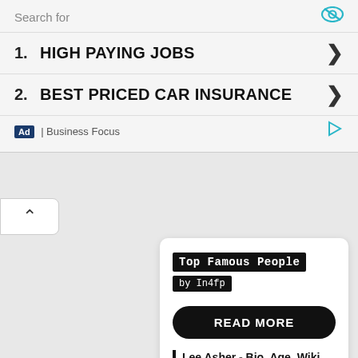Search for
1. HIGH PAYING JOBS
2. BEST PRICED CAR INSURANCE
Ad | Business Focus
[Figure (screenshot): Collapse/chevron up button]
[Figure (screenshot): Content card with Top Famous People brand, by In4fp label, READ MORE button, and article reference: Lee Asher - Bio, Age, Wiki, Facts and Family - in4fp.com]